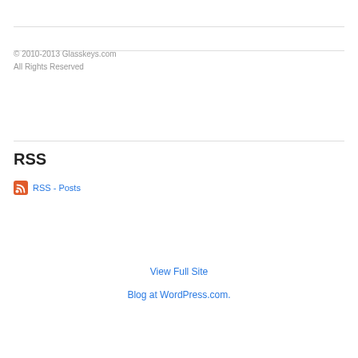© 2010-2013 Glasskeys.com
All Rights Reserved
RSS
RSS - Posts
View Full Site
Blog at WordPress.com.